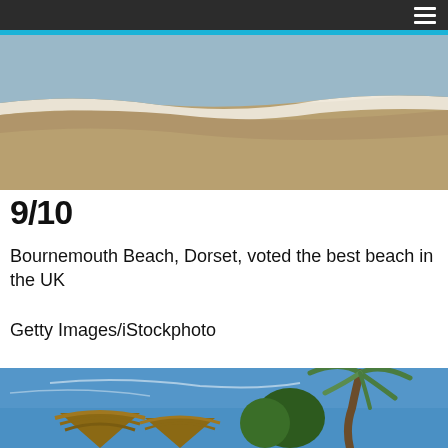≡
[Figure (photo): Aerial or wide-angle view of Bournemouth Beach, Dorset — sandy beach with gentle waves lapping the shore, wide expanse of sand visible]
9/10
Bournemouth Beach, Dorset, voted the best beach in the UK
Getty Images/iStockphoto
[Figure (photo): Tropical beach scene with thatched palapa huts and a tall palm tree against a bright blue sky]